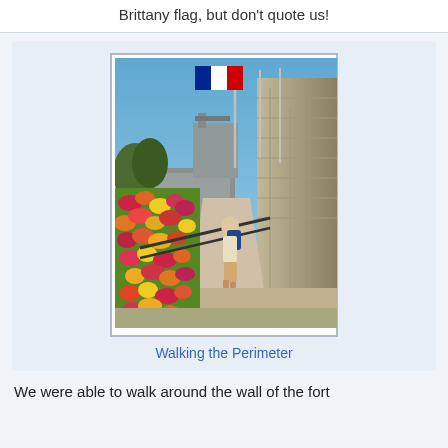Brittany flag, but don't quote us!
[Figure (photo): A person with a backpack walking along a stone fortress perimeter path lined with colorful flowers, with flagpoles flying the French flag visible above the stone wall, under a clear blue sky.]
Walking the Perimeter
We were able to walk around the wall of the fort